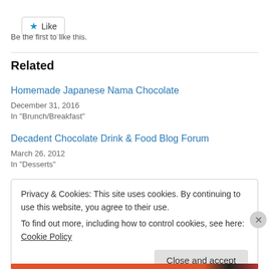[Figure (other): Like button with blue star icon and text 'Like']
Be the first to like this.
Related
Homemade Japanese Nama Chocolate
December 31, 2016
In "Brunch/Breakfast"
Decadent Chocolate Drink & Food Blog Forum
March 26, 2012
In "Desserts"
Privacy & Cookies: This site uses cookies. By continuing to use this website, you agree to their use.
To find out more, including how to control cookies, see here: Cookie Policy
Close and accept